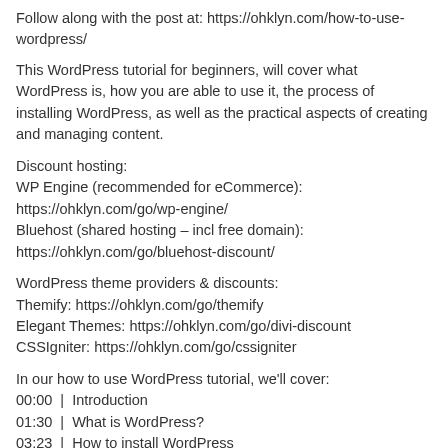Follow along with the post at: https://ohklyn.com/how-to-use-wordpress/
This WordPress tutorial for beginners, will cover what WordPress is, how you are able to use it, the process of installing WordPress, as well as the practical aspects of creating and managing content.
Discount hosting:
WP Engine (recommended for eCommerce): https://ohklyn.com/go/wp-engine/
Bluehost (shared hosting – incl free domain): https://ohklyn.com/go/bluehost-discount/
WordPress theme providers & discounts:
Themify: https://ohklyn.com/go/themify
Elegant Themes: https://ohklyn.com/go/divi-discount
CSSIgniter: https://ohklyn.com/go/cssigniter
In our how to use WordPress tutorial, we'll cover:
00:00  |  Introduction
01:30  |  What is WordPress?
03:23  |  How to install WordPress
13:00  |  Overview of the WordPress dashboard